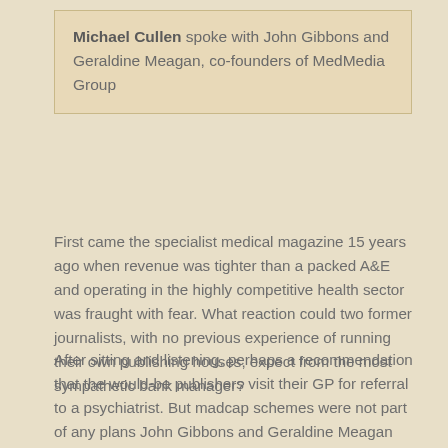Michael Cullen spoke with John Gibbons and Geraldine Meagan, co-founders of MedMedia Group
First came the specialist medical magazine 15 years ago when revenue was tighter than a packed A&E and operating in the highly competitive health sector was fraught with fear. What reaction could two former journalists, with no previous experience of running their own publishing houses, expect from the most sympathetic bank manager?
After sitting and listening, perhaps a recommendation that the would-be publishers visit their GP for referral to a psychiatrist. But madcap schemes were not part of any plans John Gibbons and Geraldine Meagan had in mind when they launched MedMedia Group (MMG) in 1991.